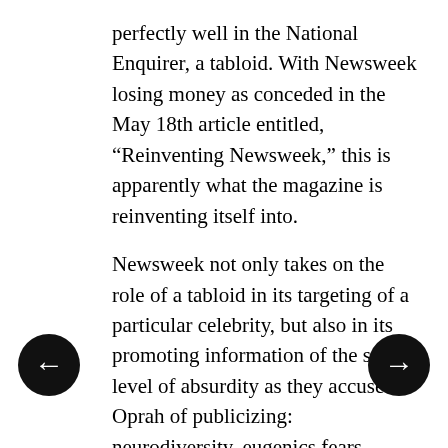perfectly well in the National Enquirer, a tabloid. With Newsweek losing money as conceded in the May 18th article entitled, “Reinventing Newsweek,” this is apparently what the magazine is reinventing itself into.
Newsweek not only takes on the role of a tabloid in its targeting of a particular celebrity, but also in its promoting information of the same level of absurdity as they accuse Oprah of publicizing: neurodiversity, eugenics fears, FDA-approval for drugs such as the apparently still dangerous HRT and Risperdal that grows milk-producing breasts on young boys, as well as the stance of a public health division that was once directed by a man who now devotes his life to “curing” homosexuality with the help